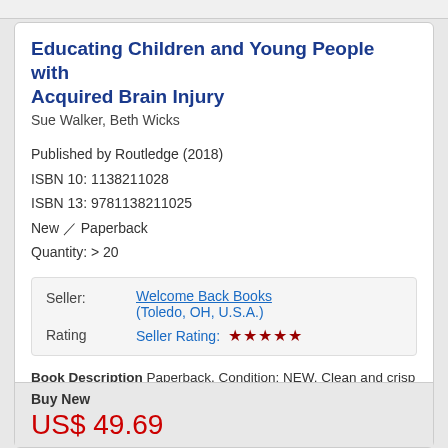Educating Children and Young People with Acquired Brain Injury
Sue Walker, Beth Wicks
Published by Routledge (2018)
ISBN 10: 1138211028
ISBN 13: 9781138211025
New / Paperback
Quantity: > 20
|  |  |
| --- | --- |
| Seller: | Welcome Back Books (Toledo, OH, U.S.A.) |
| Rating | Seller Rating: ★★★★★ |
Book Description Paperback. Condition: NEW. Clean and crisp and new!. Seller Inventory # 3528773198
More information about this seller | Contact this seller
Buy New
US$ 49.69